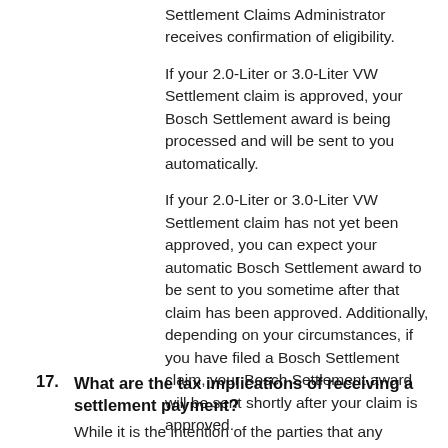Settlement Claims Administrator receives confirmation of eligibility.
If your 2.0-Liter or 3.0-Liter VW Settlement claim is approved, your Bosch Settlement award is being processed and will be sent to you automatically.
If your 2.0-Liter or 3.0-Liter VW Settlement claim has not yet been approved, you can expect your automatic Bosch Settlement award to be sent to you sometime after that claim has been approved. Additionally, depending on your circumstances, if you have filed a Bosch Settlement claim, your Bosch Settlement award will be sent shortly after your claim is approved.
Back To Top
17. What are the tax implications of receiving a settlement payment?
While it is the intention of the parties that any payments made as a result of the Bosch Settlement